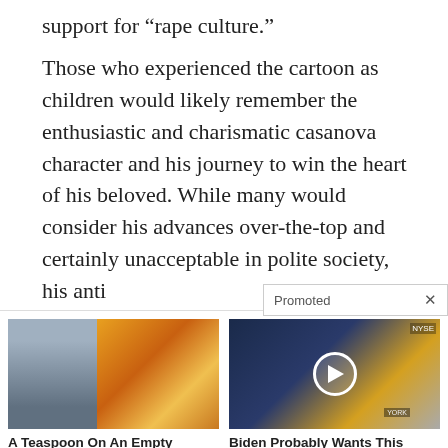support for “rape culture.”
Those who experienced the cartoon as children would likely remember the enthusiastic and charismatic casanova character and his journey to win the heart of his beloved. While many would consider his advances over-the-top and certainly unacceptable in polite society, his anti
Promoted ×
[Figure (photo): Left ad thumbnail: fitness/spice collage image for teaspoon fat-burning article]
A Teaspoon On An Empty Stomach Burns Fat Like Crazy!
151,108
[Figure (photo): Right ad thumbnail: NYSE news studio with play button overlay for Biden currency video]
Biden Probably Wants This Video Destroyed — Massive Currency Upheaval Has Started
89,290